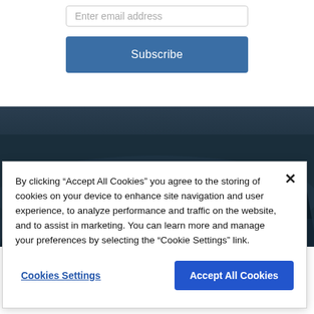[Figure (screenshot): Email input field with placeholder text 'Enter email address']
[Figure (screenshot): Blue 'Subscribe' button]
[Figure (photo): Dark misty forest/mountain landscape hero image with text 'Don't let your perfect job' partially visible]
By clicking “Accept All Cookies” you agree to the storing of cookies on your device to enhance site navigation and user experience, to analyze performance and traffic on the website, and to assist in marketing. You can learn more and manage your preferences by selecting the “Cookie Settings” link.
Cookies Settings
Accept All Cookies